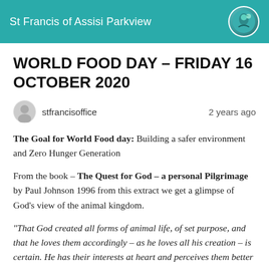St Francis of Assisi Parkview
WORLD FOOD DAY – FRIDAY 16 OCTOBER 2020
stfrancisoffice   2 years ago
The Goal for World Food day: Building a safer environment and Zero Hunger Generation
From the book – The Quest for God – a personal Pilgrimage by Paul Johnson 1996 from this extract we get a glimpse of God's view of the animal kingdom.
“That God created all forms of animal life, of set purpose, and that he loves them accordingly – as he loves all his creation – is certain. He has their interests at heart and perceives them better